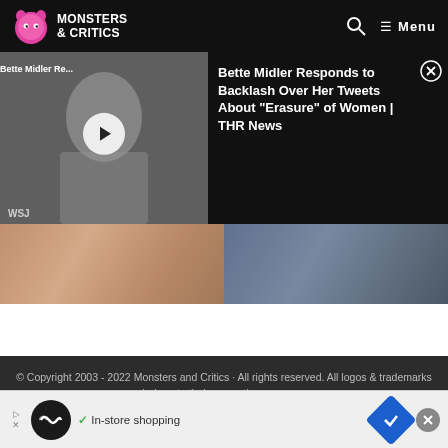Monsters & Critics — Menu
[Figure (screenshot): Video thumbnail of Bette Midler with play button overlay and label 'Bette Midler Re...']
Bette Midler Responds to Backlash Over Her Tweets About "Erasure" of Women | THR News
[Figure (photo): Two-panel photo strip showing blurred close-up images of people]
© Copyright 2003 - 2022 Monsters and Critics · All rights reserved. All logos & trademarks belong to their respective owners...